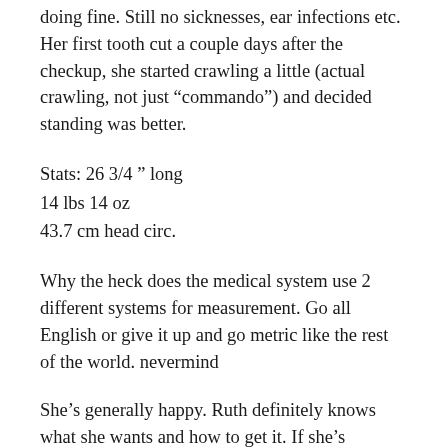doing fine. Still no sicknesses, ear infections etc. Her first tooth cut a couple days after the checkup, she started crawling a little (actual crawling, not just “commando”) and decided standing was better.
Stats: 26 3/4 ” long
14 lbs 14 oz
43.7 cm head circ.
Why the heck does the medical system use 2 different systems for measurement. Go all English or give it up and go metric like the rest of the world. nevermind
She’s generally happy. Ruth definitely knows what she wants and how to get it. If she’s